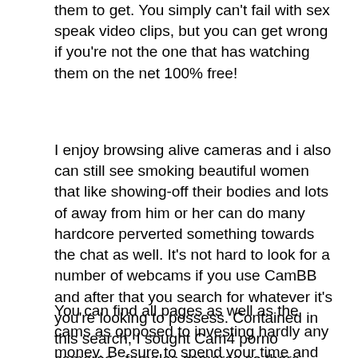them to get. You simply can't fail with sex speak video clips, but you can get wrong if you're not the one that has watching them on the net 100% free!
I enjoy browsing alive cameras and i also can still see smoking beautiful women that like showing-off their bodies and lots of away from him or her can do many hardcore perverted something towards the chat as well. It's not hard to look for a number of webcams if you use CamBB and after that you search for whatever it's you're looking to possess. Contained in this search, I sought Cam4 porno cameras , females cameras so there were a huge selection of show. The first of these you notice could be the lady which can be on line at this time and you will match your research conditions.
You can find all pages as well as the cams as opposed to investing hardly any money. Be sure to spend your time and select a female you to definitely transforms your for